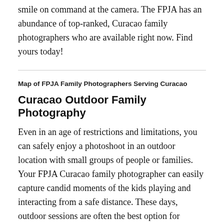smile on command at the camera. The FPJA has an abundance of top-ranked, Curacao family photographers who are available right now. Find yours today!
Map of FPJA Family Photographers Serving Curacao
Curacao Outdoor Family Photography
Even in an age of restrictions and limitations, you can safely enjoy a photoshoot in an outdoor location with small groups of people or families. Your FPJA Curacao family photographer can easily capture candid moments of the kids playing and interacting from a safe distance. These days, outdoor sessions are often the best option for sincere photographs, because people of all ages feel more comfortable and casual while they are outside and unrestricted. In these